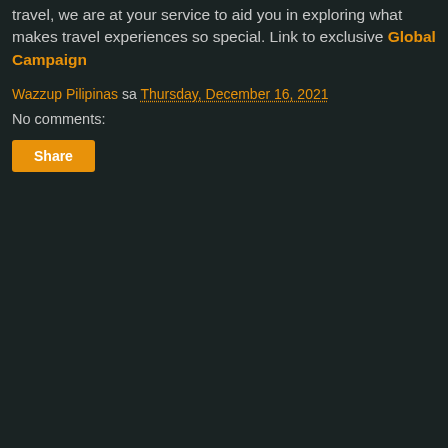travel, we are at your service to aid you in exploring what makes travel experiences so special. Link to exclusive Global Campaign
Wazzup Pilipinas sa Thursday, December 16, 2021
No comments:
Share